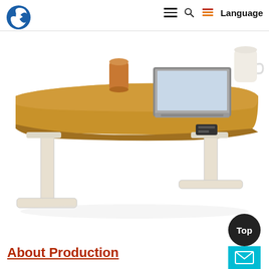[Figure (logo): Circular logo with blue crescent/arrow shape on white background, company logo]
Language
[Figure (photo): A height-adjustable standing desk with a warm wood-tone top surface, white metal frame with T-shaped legs. A laptop, orange cup, and white cup are on the desk. The desk has a curved/ergonomic tabletop shape.]
About Production